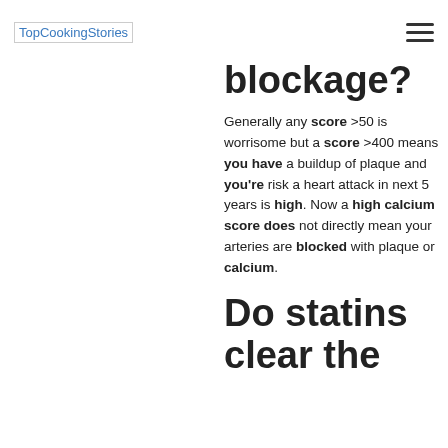TopCookingStories
blockage?
Generally any score >50 is worrisome but a score >400 means you have a buildup of plaque and you're risk a heart attack in next 5 years is high. Now a high calcium score does not directly mean your arteries are blocked with plaque or calcium.
Do statins clear the